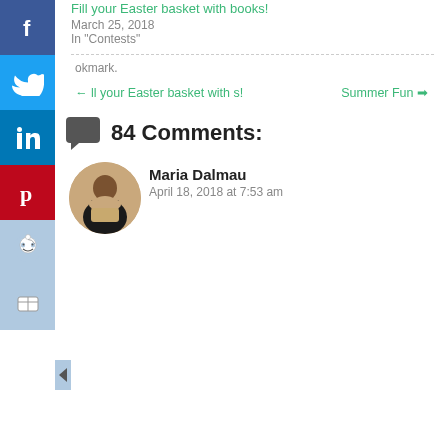Fill your Easter basket with books!
March 25, 2018
In "Contests"
okmark.
← ll your Easter basket with s!
Summer Fun →
84 Comments:
Maria Dalmau
April 18, 2018 at 7:53 am